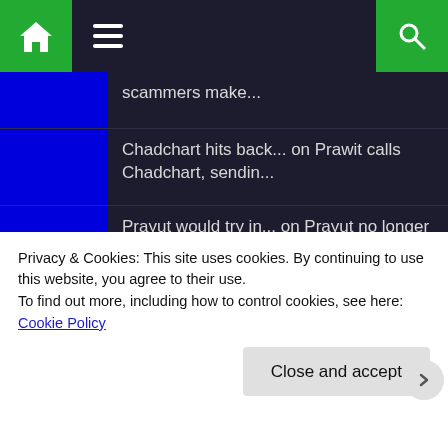Navigation bar with home, menu, and search icons
scammers make...
Chadchart hits back... on Prawit calls Chadchart, sendin...
Prayut would try in... on Prayut no longer politically r...
Prayut would try in... on Prayut could continue as Defen...
Prayut would try in... on Prayut quietly goes to work at...
Canal boat service h... on Massive traffic jams after...
Privacy & Cookies: This site uses cookies. By continuing to use this website, you agree to their use.
To find out more, including how to control cookies, see here: Cookie Policy
Close and accept